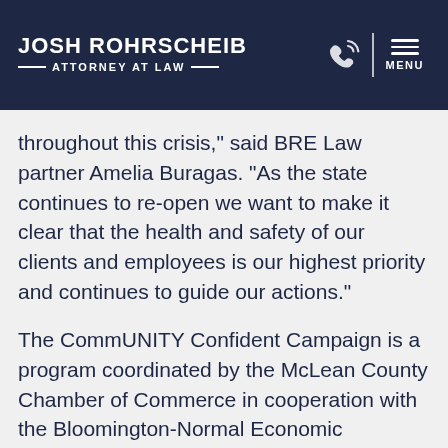JOSH ROHRSCHEIB — ATTORNEY AT LAW —
encourage the use of facial coverings. [partially visible bullet item above nav]
throughout this crisis," said BRE Law partner Amelia Buragas. "As the state continues to re-open we want to make it clear that the health and safety of our clients and employees is our highest priority and continues to guide our actions."
The CommUNITY Confident Campaign is a program coordinated by the McLean County Chamber of Commerce in cooperation with the Bloomington-Normal Economic Development Council, Town of Normal, City of Bloomington, Pantagraph Media, Meltdown Creative Works, VisitBN, Cybernautic, and Creative Sites Media. Participating